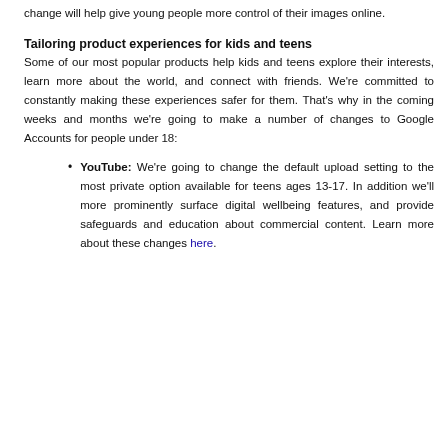change will help give young people more control of their images online.
Tailoring product experiences for kids and teens
Some of our most popular products help kids and teens explore their interests, learn more about the world, and connect with friends. We're committed to constantly making these experiences safer for them. That's why in the coming weeks and months we're going to make a number of changes to Google Accounts for people under 18:
YouTube: We're going to change the default upload setting to the most private option available for teens ages 13-17. In addition we'll more prominently surface digital wellbeing features, and provide safeguards and education about commercial content. Learn more about these changes here.